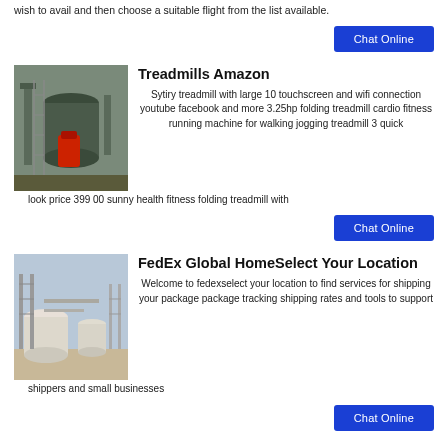wish to avail and then choose a suitable flight from the list available.
[Figure (other): Chat Online button (blue)]
Treadmills Amazon
[Figure (photo): Industrial machinery photo - large cylindrical equipment with red component]
Sytiry treadmill with large 10 touchscreen and wifi connection youtube facebook and more 3.25hp folding treadmill cardio fitness running machine for walking jogging treadmill 3 quick look price 399 00 sunny health fitness folding treadmill with
[Figure (other): Chat Online button (blue)]
FedEx Global HomeSelect Your Location
[Figure (photo): Industrial facility photo - white storage tanks and scaffolding]
Welcome to fedexselect your location to find services for shipping your package package tracking shipping rates and tools to support shippers and small businesses
[Figure (other): Chat Online button (blue)]